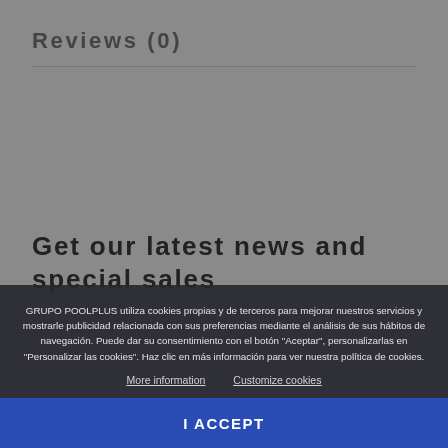Reviews (0)
Get our latest news and special sales
GRUPO POOLPLUS utiliza cookies propias y de terceros para mejorar nuestros servicios y mostrarle publicidad relacionada con sus preferencias mediante el análisis de sus hábitos de navegación. Puede dar su consentimiento con el botón "Aceptar", personalizarlas en "Personalizar las cookies". Haz clic en más información para ver nuestra política de cookies.
More information   Customize cookies
I ACCEPT